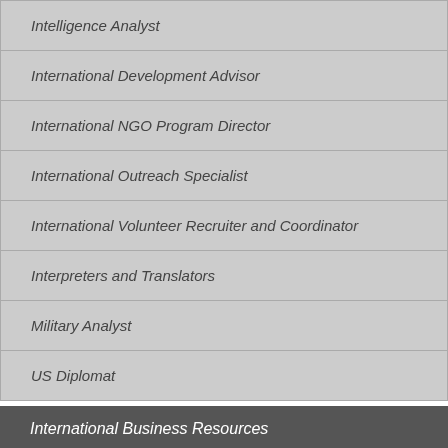Intelligence Analyst
International Development Advisor
International NGO Program Director
International Outreach Specialist
International Volunteer Recruiter and Coordinator
Interpreters and Translators
Military Analyst
US Diplomat
International Business Resources